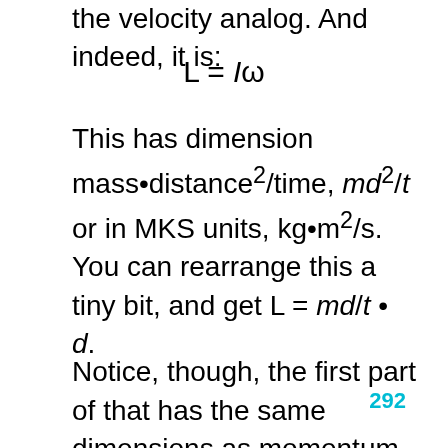the velocity analog. And indeed, it is:
This has dimension mass•distance²/time, md²/t or in MKS units, kg•m²/s.
You can rearrange this a tiny bit, and get L = md/t • d.
Notice, though, the first part of that has the same dimensions as momentum. And d of course is the distance.
292